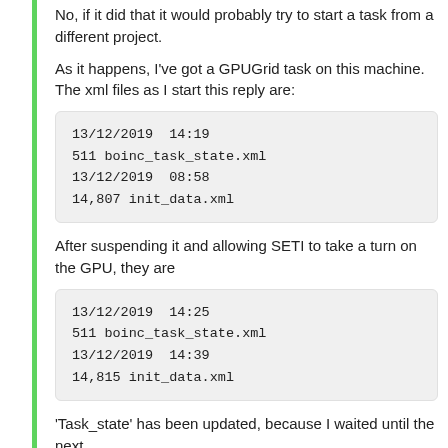No, if it did that it would probably try to start a task from a different project.
As it happens, I've got a GPUGrid task on this machine. The xml files as I start this reply are:
13/12/2019  14:19
511 boinc_task_state.xml
13/12/2019  08:58
14,807 init_data.xml
After suspending it and allowing SETI to take a turn on the GPU, they are
13/12/2019  14:25
511 boinc_task_state.xml
13/12/2019  14:39
14,815 init_data.xml
'Task_state' has been updated, because I waited until the next